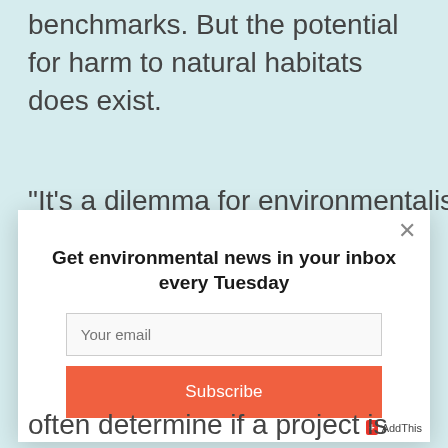benchmarks. But the potential for harm to natural habitats does exist.
“It’s a dilemma for environmentalists,”
[Figure (screenshot): Modal popup dialog for newsletter subscription. Contains title 'Get environmental news in your inbox every Tuesday', an email input field with placeholder 'Your email', and a salmon-colored Subscribe button. Has an X close button in the top right corner.]
often determine if a project is